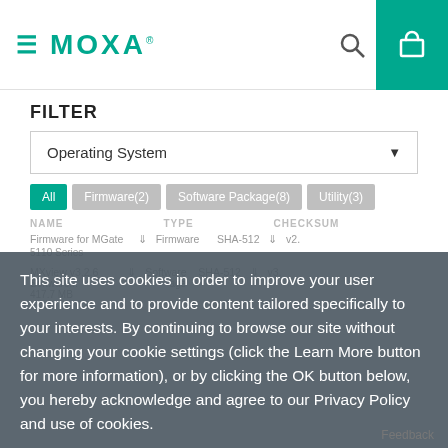MOXA - Navigation header with hamburger menu, logo, search, and cart
FILTER
Operating System
All | Firmware(2) | Software Package(8) | Utility(3)
This site uses cookies in order to improve your user experience and to provide content tailored specifically to your interests. By continuing to browse our site without changing your cookie settings (click the Learn More button for more information), or by clicking the OK button below, you hereby acknowledge and agree to our Privacy Policy and use of cookies.
LEARN MORE
OK
Firmware for MGate 5110 Series | Firmware | SHA-512 | v2.
MXview v3.2.6 Software... | Software Package | SHA-512 | v3. | 417.7 MB
Feedback